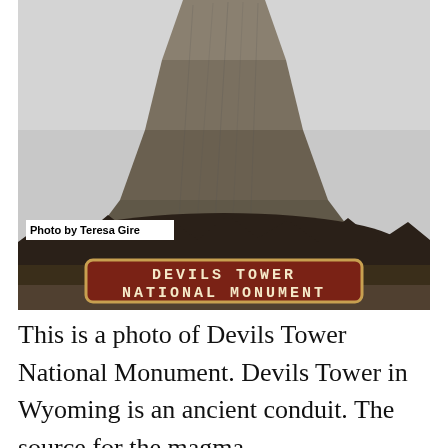[Figure (photo): Photograph of Devils Tower National Monument in Wyoming. The iconic igneous rock formation rises steeply against a pale sky, surrounded by dark tree line at its base. A brown wooden sign with cream lettering reading 'DEVILS TOWER NATIONAL MONUMENT' is visible at the bottom of the photo. A photo credit label reads 'Photo by Teresa Gire'.]
Photo by Teresa Gire
This is a photo of Devils Tower National Monument. Devils Tower in Wyoming is an ancient conduit. The source for the magma